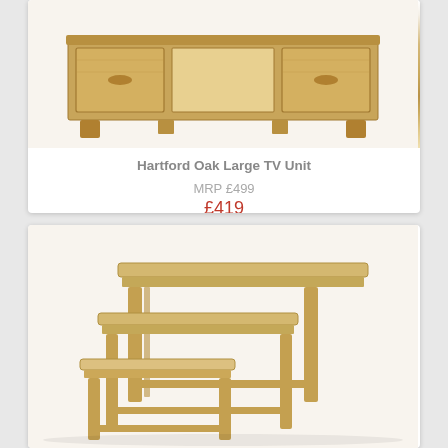[Figure (photo): Hartford Oak Large TV Unit - a wooden oak TV unit with drawers and open shelf]
Hartford Oak Large TV Unit
MRP £499
£419
[Figure (photo): Nest of three oak tables, graduated in size, stacked together]